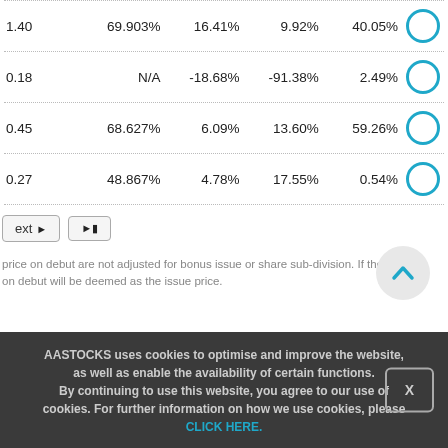| Col1 | Col2 | Col3 | Col4 | Col5 |  |
| --- | --- | --- | --- | --- | --- |
| 1.40 | 69.903% | 16.41% | 9.92% | 40.05% | ○ |
| 0.18 | N/A | -18.68% | -91.38% | 2.49% | ○ |
| 0.45 | 68.627% | 6.09% | 13.60% | 59.26% | ○ |
| 0.27 | 48.867% | 4.78% | 17.55% | 0.54% | ○ |
next ▶   ▶|
price on debut are not adjusted for bonus issue or share sub-division. If the on debut will be deemed as the issue price.
AASTOCKS uses cookies to optimise and improve the website, as well as enable the availability of certain functions. By continuing to use this website, you agree to our use of cookies. For further information on how we use cookies, please CLICK HERE.